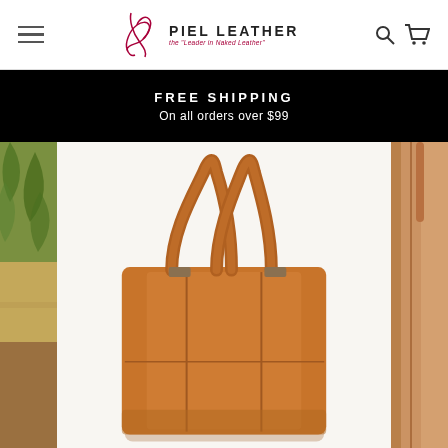[Figure (screenshot): Piel Leather website header with hamburger menu on left, Piel Leather logo in center (cursive piel icon with PIEL LEATHER text and tagline 'the leader in Naked Leather'), and search/cart icons on right]
FREE SHIPPING
On all orders over $99
[Figure (photo): Product page showing a tan/cognac leather tote bag in the center against a white background, with a partial outdoor nature/plant scene on the far left and a partial view of another leather bag on the far right]